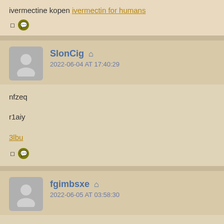ivermectine kopen ivermectin for humans
🗆 💬
SlonCig 🏠
2022-06-04 AT 17:40:29
nfzeq

r1aiy

3lbu
🗆 💬
fgimbsxe 🏠
2022-06-05 AT 03:58:30
when Can Cialis Become Generic?